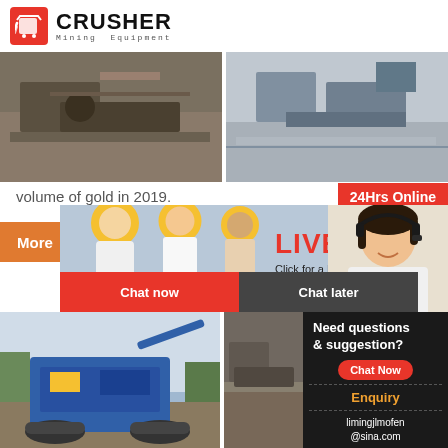[Figure (logo): Crusher Mining Equipment logo with red shopping bag icon and bold CRUSHER text]
[Figure (photo): Aerial view of mining/excavation site with machinery]
[Figure (photo): Mining equipment and conveyor belt at industrial site]
volume of gold in 2019.
24Hrs Online
More
[Figure (infographic): Live chat popup overlay with workers in yellow hard hats. Text: LIVE CHAT, Click for a Free Consultation, Chat now, Chat later buttons]
[Figure (photo): Customer service representative with headset]
[Figure (photo): Blue mobile crushing machine at outdoor mining site]
[Figure (photo): Mining/quarry operation with equipment]
Need questions & suggestion?
Chat Now
Enquiry
limingjlmofen@sina.com